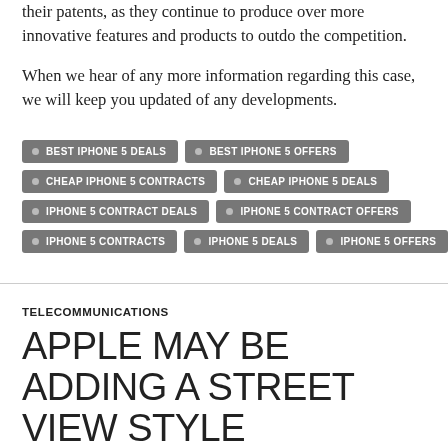their patents, as they continue to produce over more innovative features and products to outdo the competition.
When we hear of any more information regarding this case, we will keep you updated of any developments.
BEST IPHONE 5 DEALS
BEST IPHONE 5 OFFERS
CHEAP IPHONE 5 CONTRACTS
CHEAP IPHONE 5 DEALS
IPHONE 5 CONTRACT DEALS
IPHONE 5 CONTRACT OFFERS
IPHONE 5 CONTRACTS
IPHONE 5 DEALS
IPHONE 5 OFFERS
TELECOMMUNICATIONS
APPLE MAY BE ADDING A STREET VIEW STYLE